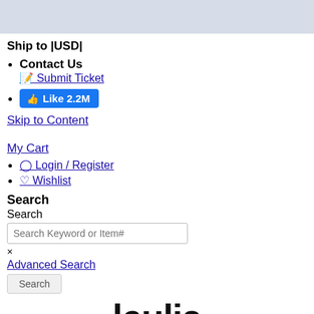[Figure (other): Light blue-grey header banner strip]
Ship to |USD|
Contact Us
 Submit Ticket
Like 2.2M (Facebook like button)
Skip to Content
My Cart
Login / Register
Wishlist
Search
Search
Search Keyword or Item#
×
Advanced Search
Search
[Figure (logo): lewlia (partial logo text in large bold font)]